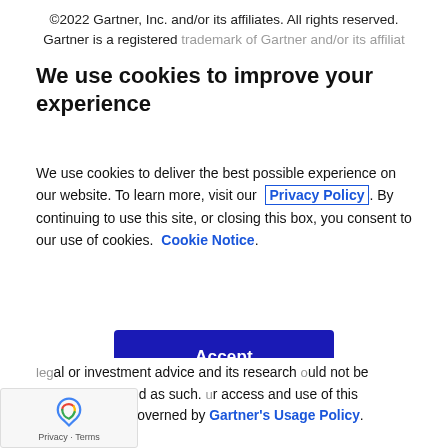©2022 Gartner, Inc. and/or its affiliates. All rights reserved. Gartner is a registered [trademark of Gartner and/or its affiliates]
We use cookies to improve your experience
We use cookies to deliver the best possible experience on our website. To learn more, visit our Privacy Policy. By continuing to use this site, or closing this box, you consent to our use of cookies. Cookie Notice.
Accept
legal or investment advice and its research ould not be construed or used as such. ur access and use of this publication are governed by Gartner's Usage Policy. Gartner